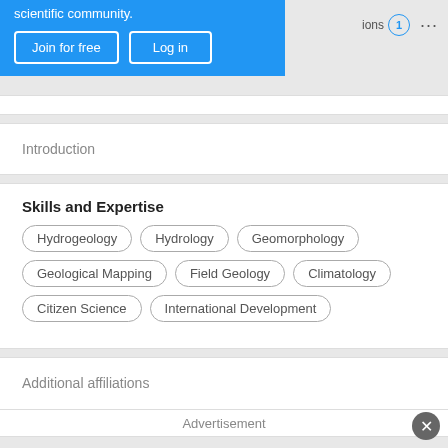scientific community.
Join for free   Log in
ions 1 ...
Introduction
Skills and Expertise
Hydrogeology
Hydrology
Geomorphology
Geological Mapping
Field Geology
Climatology
Citizen Science
International Development
Additional affiliations
Advertisement